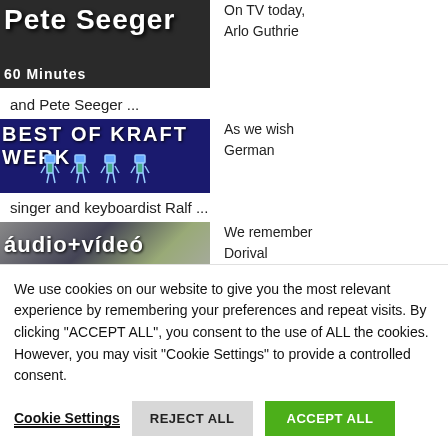[Figure (screenshot): Thumbnail image of Pete Seeger TV show, dark background with large white text 'Pete Seeger' and '60 Minutes' below]
On TV today, Arlo Guthrie
and Pete Seeger ...
[Figure (screenshot): Thumbnail image of Kraftwerk 'Best of Kraft Werk' on dark blue background with robot figures]
As we wish German
singer and keyboardist Ralf ...
[Figure (screenshot): Thumbnail image showing 'audio+video' text on grey/purple background]
We remember Dorival
We use cookies on our website to give you the most relevant experience by remembering your preferences and repeat visits. By clicking "ACCEPT ALL", you consent to the use of ALL the cookies. However, you may visit "Cookie Settings" to provide a controlled consent.
Cookie Settings
REJECT ALL
ACCEPT ALL